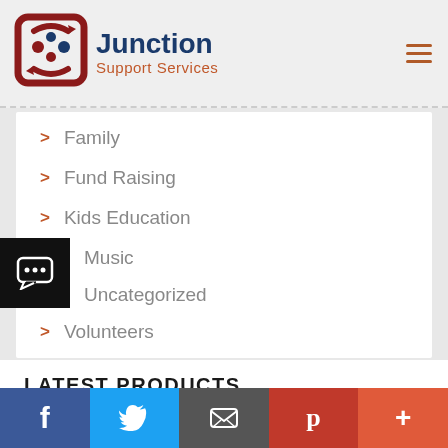[Figure (logo): Junction Support Services logo with red circular arrow icon and blue/red text]
> Family
> Fund Raising
> Kids Education
Music
Uncategorized
> Volunteers
LATEST PRODUCTS
PLATED PAINTING